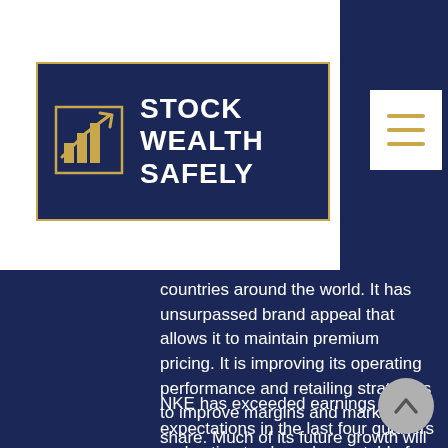[Figure (logo): Stock Wealth Safely logo with bar chart icon on dark navy background with gold border]
[Figure (other): Hamburger menu button with three horizontal gold lines on white background]
countries around the world. It has unsurpassed brand appeal that allows it to maintain premium pricing. It is improving its operating performance and retailing strategies to improve margins and market share. Much of its future growth will come in international markets as developing regions have more middle class consumers who will want and be able to afford the Nike brand.
NKE has exceeded earnings expectations in the last four quarters and estimates have been stable for the past 30 days.